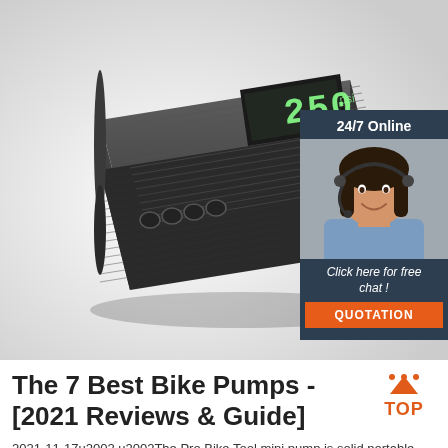[Figure (photo): Product photo of a portable bike pump device (dark grey/black) with ribbed casing, four circular buttons, and a digital display showing '250', on a light grey/white background.]
[Figure (infographic): Advertisement banner with dark blue background showing '24/7 Online', a photo of a smiling woman with headset, and text 'Click here for free chat!' with an orange 'QUOTATION' button.]
The 7 Best Bike Pumps - [2021 Reviews & Guide]
[Figure (logo): TOP logo with red dot triangle and 'TOP' text in red.]
2021-11-17u2002·u2002The Pro Bike Tool mini pump is solid portable bike pump and has a